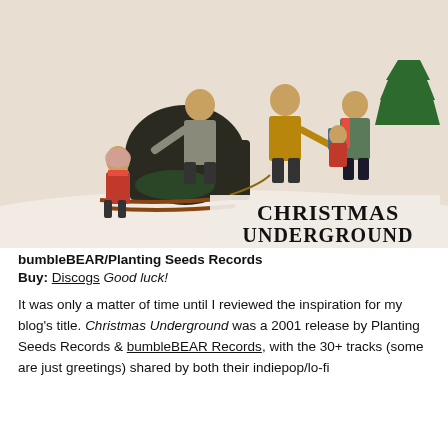[Figure (illustration): Album cover for Christmas Underground showing a vintage illustration of people in winter coats pulling a Christmas tree on a sled in the snow. The text 'CHRISTMAS UNDERGROUND' appears in large serif font at the bottom right of the illustration.]
bumbleBEAR/Planting Seeds Records
Buy: Discogs Good luck!
It was only a matter of time until I reviewed the inspiration for my blog's title. Christmas Underground was a 2001 release by Planting Seeds Records & bumbleBEAR Records, with the 30+ tracks (some are just greetings) shared by both their indiepop/lo-fi